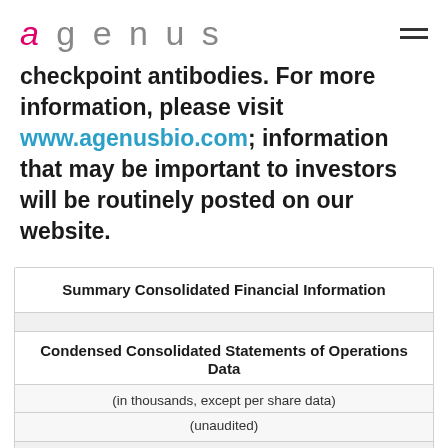agenus
checkpoint antibodies. For more information, please visit www.agenusbio.com; information that may be important to investors will be routinely posted on our website.
| Summary Consolidated Financial Information |
| --- |
| Condensed Consolidated Statements of Operations Data |
| (in thousands, except per share data) |
| (unaudited) |